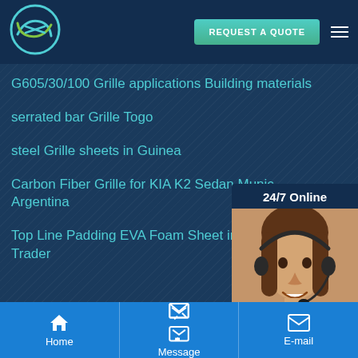REQUEST A QUOTE
G605/30/100 Grille applications Building materials
serrated bar Grille Togo
steel Grille sheets in Guinea
Carbon Fiber Grille for KIA K2 Sedan Munic Argentina
Top Line Padding EVA Foam Sheet in Unite Trader
[Figure (photo): Customer service agent wearing headset, smiling, with 24/7 Online label and quotation button]
Home   Message   E-mail